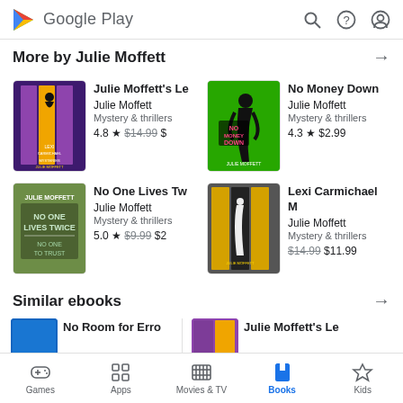Google Play
More by Julie Moffett
[Figure (illustration): Book cover: Julie Moffett's Le - boxset collection, purple and yellow]
Julie Moffett's Le
Julie Moffett
Mystery & thrillers
4.8 ★ $14.99 $
[Figure (illustration): Book cover: No Money Down - green background with woman figure]
No Money Down
Julie Moffett
Mystery & thrillers
4.3 ★ $2.99
[Figure (illustration): Book cover: No One Lives Twice / No One to Trust - green tones]
No One Lives Tw
Julie Moffett
Mystery & thrillers
5.0 ★ $9.99 $2
[Figure (illustration): Book cover: Lexi Carmichael Mystery boxset - yellow/dark tones]
Lexi Carmichael M
Julie Moffett
Mystery & thrillers
$14.99 $11.99
Similar ebooks
[Figure (illustration): Book cover: No Room for Erro - blue cover]
No Room for Erro
[Figure (illustration): Book cover: Julie Moffett's Le - purple/yellow]
Julie Moffett's Le
Games  Apps  Movies & TV  Books  Kids